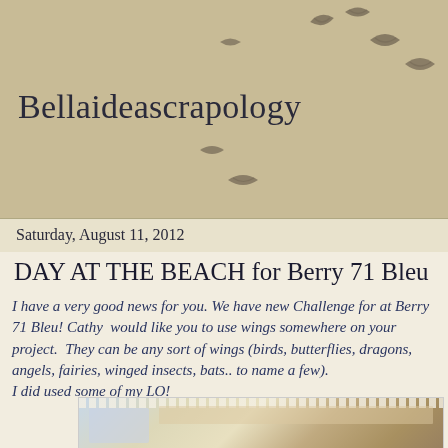Bellaideascrapology
Saturday, August 11, 2012
DAY AT THE BEACH for Berry 71 Bleu
I have a very good news for you. We have new Challenge for at Berry 71 Bleu! Cathy  would like you to use wings somewhere on your project.  They can be any sort of wings (birds, butterflies, dragons, angels, fairies, winged insects, bats.. to name a few).
I did used some of my LO!
[Figure (photo): Scrapbook layout photo showing a beach or angel-themed page with lace, handwritten text, and decorative elements]